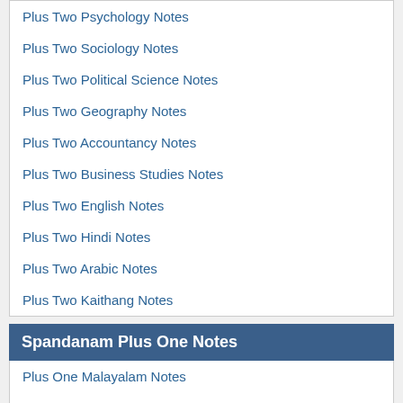Plus Two Psychology Notes
Plus Two Sociology Notes
Plus Two Political Science Notes
Plus Two Geography Notes
Plus Two Accountancy Notes
Plus Two Business Studies Notes
Plus Two English Notes
Plus Two Hindi Notes
Plus Two Arabic Notes
Plus Two Kaithang Notes
Spandanam Plus One Notes
Plus One Malayalam Notes
Plus One Physics Notes
Plus One Chemistry Notes